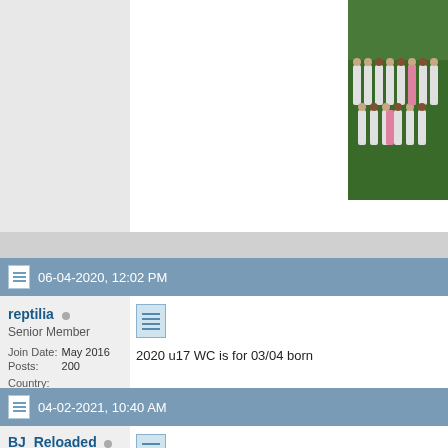[Figure (photo): Team photo of a soccer/football team in white jerseys, posed on a field]
06-04-2020, 12:02 PM
reptilia
Senior Member
Join Date: May 2016
Posts: 200
Country: Australia (.AU flag)
[Figure (photo): Australia .AU country flag banner]
2020 u17 WC is for 03/04 born

2021 U16 Asia 05/06 (top 4) Qualifies for
2022 u17 WC 05/06
04-02-2021, 10:40 AM
BJ_Reloaded
Senior Member
Join Date: Sep 2015
Posts: 925
Country: Philippines flag
With The likes of Caelum Harris(Ranked #1 for Batch 2024 on April 2021), Jayden Harper(Ranked #3 for Batch 2024 April 2021), Miller(Ranked #5 for Batch 2024) become one of the dark horses